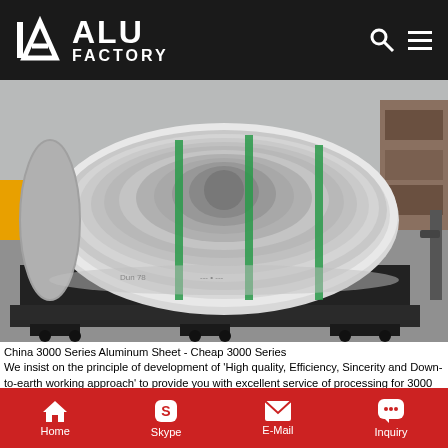ALU FACTORY
[Figure (photo): Large aluminum coil roll on a wooden pallet placed on a black industrial scale/platform in a factory warehouse setting.]
China 3000 Series Aluminum Sheet - Cheap 3000 Series
We insist on the principle of development of 'High quality, Efficiency, Sincerity and Down-to-earth working approach' to provide you with excellent service of processing for 3000 Series Aluminum Sheet, Aluminum Foil, Aluminum Coil, Aluminum Sheet, Aluminum Plate, Aluminum Circle, Aluminum Strip, Aluminum Profile - Zhejiang Chongding Jiate Metal Technology Co., Ltd.
Home  Skype  E-Mail  Inquiry